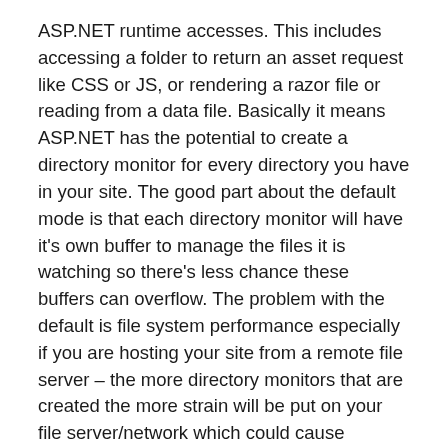ASP.NET runtime accesses. This includes accessing a folder to return an asset request like CSS or JS, or rendering a razor file or reading from a data file. Basically it means ASP.NET has the potential to create a directory monitor for every directory you have in your site. The good part about the default mode is that each directory monitor will have it's own buffer to manage the files it is watching so there's less chance these buffers can overflow. The problem with the default is file system performance especially if you are hosting your site from a remote file server – the more directory monitors that are created the more strain will be put on your file server/network which could cause unwanted app domain restarts.
When set to "Single", ASP.NET will create one directory monitor and this single directory monitor will be used to monitor all folders that ASP.NET accesses. This means